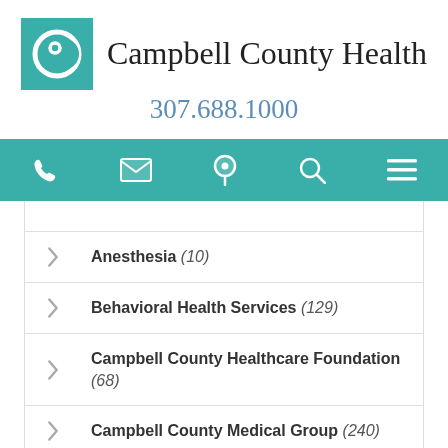[Figure (logo): Campbell County Health logo: teal square with crescent moon/C symbol]
Campbell County Health
307.688.1000
[Figure (infographic): Teal navigation bar with icons: phone, envelope, map pin, search, hamburger menu]
Anesthesia (10)
Behavioral Health Services (129)
Campbell County Healthcare Foundation (68)
Campbell County Medical Group (240)
Campbell County Medical Group Audiology (20)